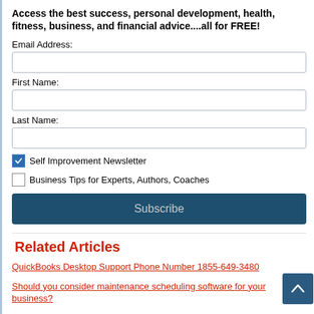Access the best success, personal development, health, fitness, business, and financial advice....all for FREE!
Email Address:
First Name:
Last Name:
Self Improvement Newsletter (checked)
Business Tips for Experts, Authors, Coaches (unchecked)
Subscribe
Related Articles
QuickBooks Desktop Support Phone Number 1855-649-3480
Should you consider maintenance scheduling software for your business?
WHAT IS INVOICE MANAGEMENT? SELECTING RIGHT TOOL